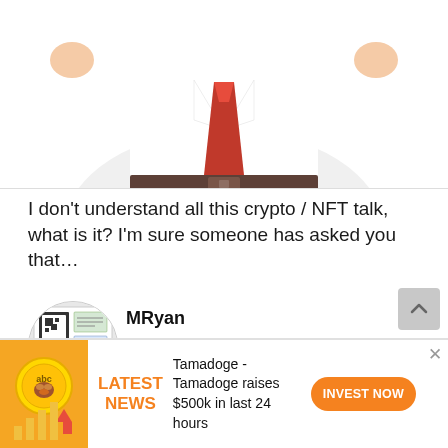[Figure (illustration): 3D cartoon businessman character in white shirt and red tie with arms raised, cropped at torso, shown from above waist]
I don't understand all this crypto / NFT talk, what is it? I'm sure someone has asked you that…
[Figure (illustration): Circular avatar image showing a QR code and map graphic for the author MRyan]
MRyan
13 hours ago
1 minute read
[Figure (illustration): Anime-style cartoon girl with black hair giving thumbs up, wearing teal outfit, smiling with green eyes]
[Figure (infographic): Tamadoge advertisement banner with orange dog coin logo and bar chart, LATEST NEWS label in orange, text about Tamadoge raising $500k in 24 hours, with orange INVEST NOW button]